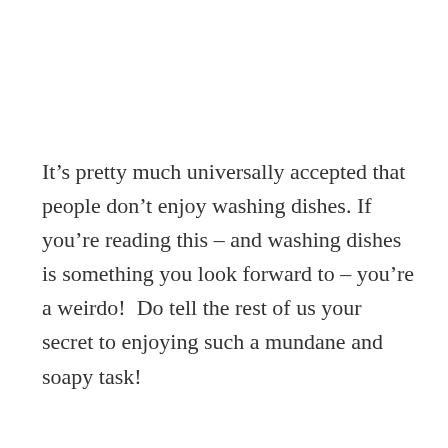It's pretty much universally accepted that people don't enjoy washing dishes. If you're reading this – and washing dishes is something you look forward to – you're a weirdo!  Do tell the rest of us your secret to enjoying such a mundane and soapy task!